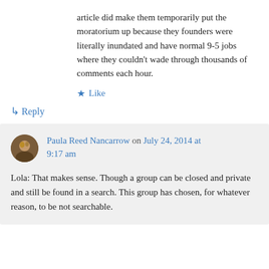article did make them temporarily put the moratorium up because they founders were literally inundated and have normal 9-5 jobs where they couldn't wade through thousands of comments each hour.
★ Like
↳ Reply
Paula Reed Nancarrow on July 24, 2014 at 9:17 am
Lola: That makes sense. Though a group can be closed and private and still be found in a search. This group has chosen, for whatever reason, to be not searchable.